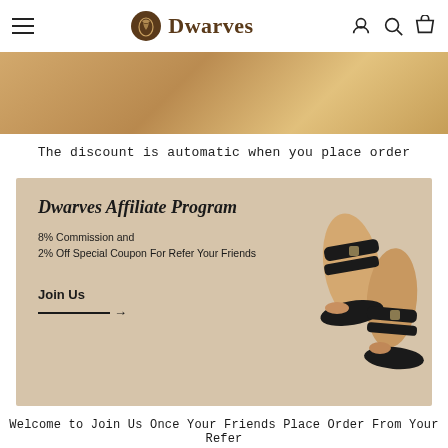Dwarves (logo with hamburger menu, user icon, search icon, cart icon)
[Figure (photo): Top portion of a lifestyle/product photo with warm golden-brown tones, partially visible]
The discount is automatic when you place order
[Figure (infographic): Dwarves Affiliate Program banner on beige/tan background featuring text: Dwarves Affiliate Program, 8% Commission and, 2% Off Special Coupon For Refer Your Friends, Join Us with arrow. Right side shows photo of person's feet wearing black leather sandals with buckle straps.]
Welcome to Join Us Once Your Friends Place Order From Your Refer